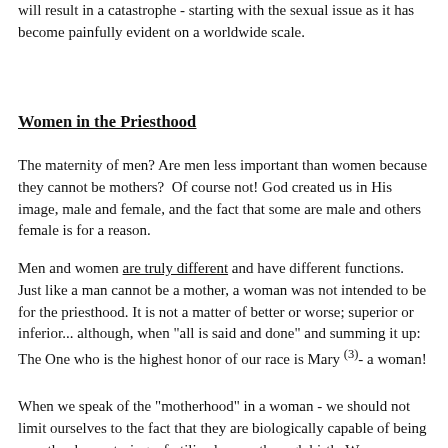will result in a catastrophe - starting with the sexual issue as it has become painfully evident on a worldwide scale.
Women in the Priesthood
The maternity of men? Are men less important than women because they cannot be mothers?  Of course not! God created us in His image, male and female, and the fact that some are male and others female is for a reason.
Men and women are truly different and have different functions. Just like a man cannot be a mother, a woman was not intended to be for the priesthood. It is not a matter of better or worse; superior or inferior... although, when "all is said and done" and summing it up: The One who is the highest honor of our race is Mary (3)- a woman!
When we speak of the "motherhood" in a woman - we should not limit ourselves to the fact that they are biologically capable of being a mother by nurturing a fertilized ovum through birth. Women, blessedly, have a unique number of physical, psychological and